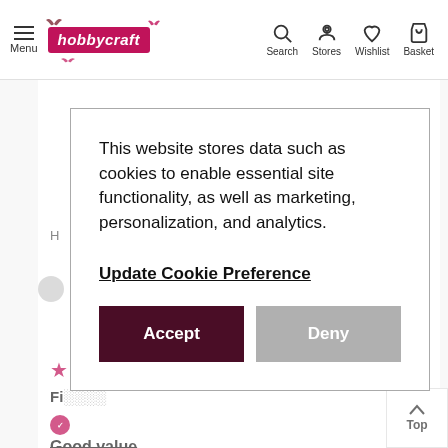Menu | hobbycraft | Search | Stores | Wishlist | Basket
H
★ Fi
Good value
Bought two of these recently to make a 'trampoline' cake - worked well.
This website stores data such as cookies to enable essential site functionality, as well as marketing, personalization, and analytics.

Update Cookie Preference

[Accept] [Deny]